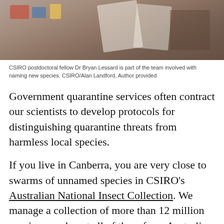[Figure (photo): Laboratory or office scene with papers and colorful items, muted warm tones, partially visible]
CSIRO postdoctoral fellow Dr Bryan Lessard is part of the team involved with naming new species. CSIRO/Alan Landford, Author provided
Government quarantine services often contract our scientists to develop protocols for distinguishing quarantine threats from harmless local species.
If you live in Canberra, you are very close to swarms of unnamed species in CSIRO's Australian National Insect Collection. We manage a collection of more than 12 million specimens, almost all of them from Australia.
Not surprisingly, it is the largest collection of Australian insects in the world.
We have the vast majority of named Australian